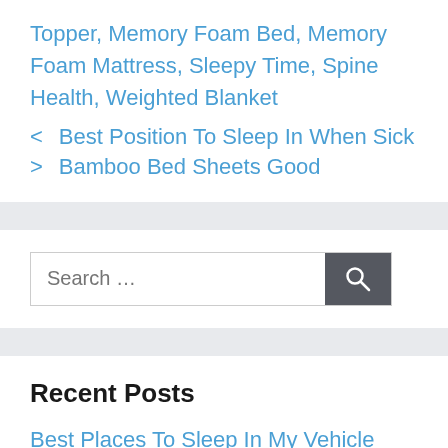Topper, Memory Foam Bed, Memory Foam Mattress, Sleepy Time, Spine Health, Weighted Blanket
< Best Position To Sleep In When Sick
> Bamboo Bed Sheets Good
Recent Posts
Best Places To Sleep In My Vehicle